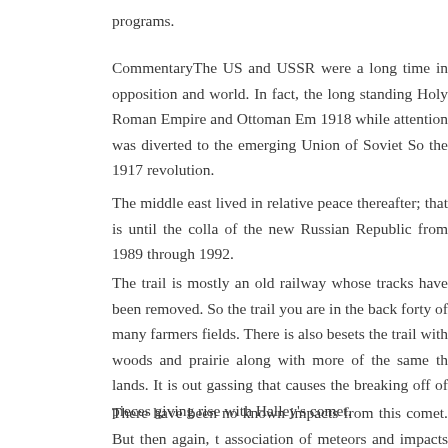programs.
CommentaryThe US and USSR were a long time in opposition and world. In fact, the long standing Holy Roman Empire and Ottoman Em 1918 while attention was diverted to the emerging Union of Soviet So the 1917 revolution.
The middle east lived in relative peace thereafter; that is until the colla of the new Russian Republic from 1989 through 1992.
The trail is mostly an old railway whose tracks have been removed. So the trail you are in the back forty of many farmers fields. There is also besets the trail with woods and prairie along with more of the same th lands. It is out gassing that causes the breaking off of pieces giving rise with Halley’s comet.
There have been no known impacts from this comet. But then again, t association of meteors and impacts from comets is fairly new. Since